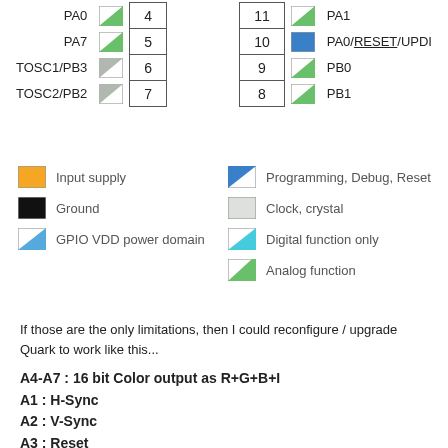[Figure (schematic): Partial pinout table for a microcontroller showing pin numbers 4-11 with signal names PA0, PA7, TOSC1/PB3, TOSC2/PB2 on the left and PA1, PA0/RESET/UPDI, PB0, PB1 on the right, with colored pin-type indicator squares.]
[Figure (infographic): Legend showing pin type color codes: orange=Input supply, black=Ground, blue/white diagonal=GPIO VDD power domain, blue diagonal=Programming Debug Reset, gray=Clock crystal, cyan/white=Digital function only, green=Analog function]
If those are the only limitations, then I could reconfigure / upgrade Quark to work like this...
A4-A7 : 16 bit Color output as R+G+B+I
A1 : H-Sync
A2 : V-Sync
A3 : Reset
A0 : Clock Input
B0 : ADC Joystick